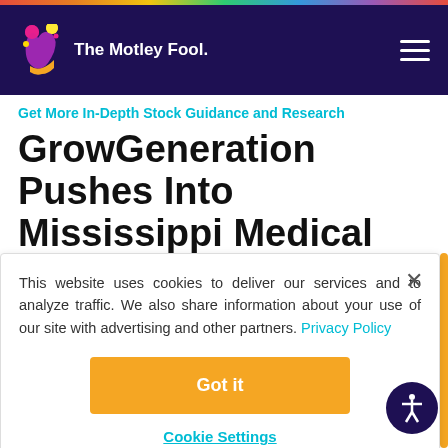[Figure (logo): The Motley Fool logo with jester hat on navy background header]
Get More In-Depth Stock Guidance and Research
GrowGeneration Pushes Into Mississippi Medical Pot Market
This website uses cookies to deliver our services and to analyze traffic. We also share information about your use of our site with advertising and other partners. Privacy Policy
Got it
Cookie Settings